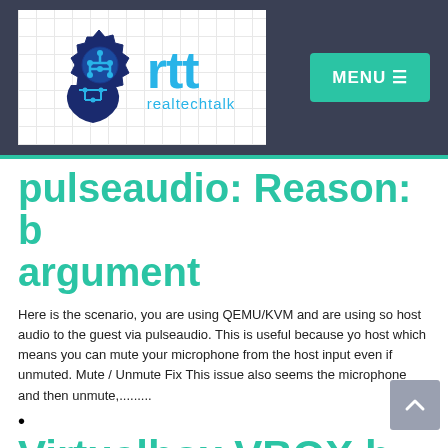[Figure (logo): realtechtalk (rtt) logo with gear/circuit icon and teal text]
pulseaudio: Reason: b argument
Here is the scenario, you are using QEMU/KVM and are using so host audio to the guest via pulseaudio. This is useful because yo host which means you can mute your microphone from the host input even if unmuted. Mute / Unmute Fix This issue also seems the microphone and then unmute,.........
Virtualbox VBOX h...